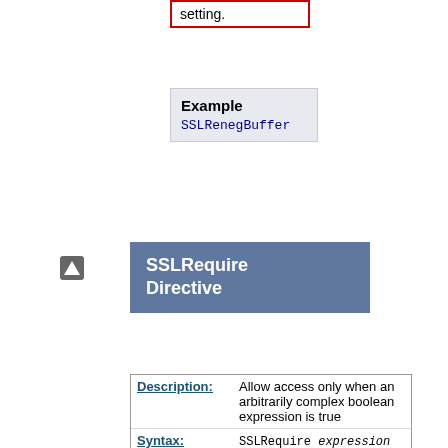setting.
Example
SSLRenegBuffer
SSLRequire Directive
| Field | Value |
| --- | --- |
| Description: | Allow access only when an arbitrarily complex boolean expression is true |
| Syntax: | SSLRequire expression |
| Context: | directory, .htaccess |
| Override: | AuthConfig |
| Status: | Extension |
| Module: | mod_ssl |